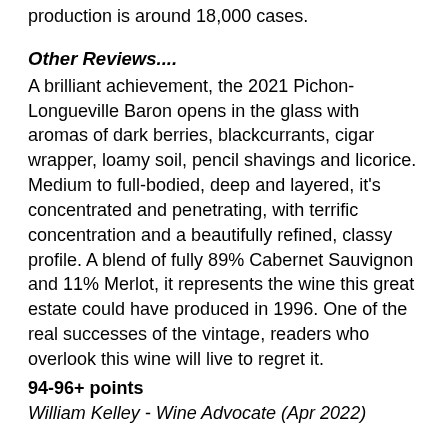production is around 18,000 cases.
Other Reviews....
A brilliant achievement, the 2021 Pichon-Longueville Baron opens in the glass with aromas of dark berries, blackcurrants, cigar wrapper, loamy soil, pencil shavings and licorice. Medium to full-bodied, deep and layered, it's concentrated and penetrating, with terrific concentration and a beautifully refined, classy profile. A blend of fully 89% Cabernet Sauvignon and 11% Merlot, it represents the wine this great estate could have produced in 1996. One of the real successes of the vintage, readers who overlook this wine will live to regret it.
94-96+ points
William Kelley - Wine Advocate (Apr 2022)
The 2021 Pichon-Baron is a dense, packed wine, its mid-weight structure notwithstanding. There is a lot of wine here, but readers have to be patient. Red-toned fruit, blood orange, mint, rose petal and cinnamon add layers of